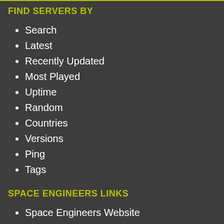FIND SERVERS BY
Search
Latest
Recently Updated
Most Played
Uptime
Random
Countries
Versions
Ping
Tags
SPACE ENGINEERS LINKS
Space Engineers Website
Space Engineers Forum
Space Engineers Wiki
Space Engineers Server Hosting
Monetize Your Server